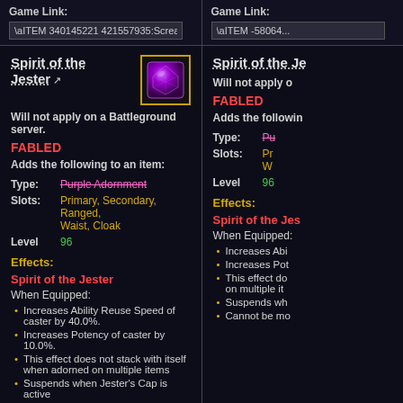Game Link: \aITEM 340145221 421557935:Screams of B
Game Link: \aITEM -58064...
Spirit of the Jester
Will not apply on a Battleground server.
FABLED
Adds the following to an item:
Type: Purple Adornment
Slots: Primary, Secondary, Ranged, Waist, Cloak
Level 96
Effects:
Spirit of the Jester
When Equipped:
Increases Ability Reuse Speed of caster by 40.0%.
Increases Potency of caster by 10.0%.
This effect does not stack with itself when adorned on multiple items
Suspends when Jester's Cap is active
Cannot be modified except by direct means